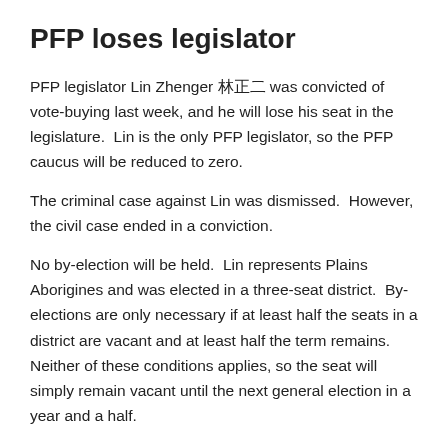PFP loses legislator
PFP legislator Lin Zhenger 林正二 was convicted of vote-buying last week, and he will lose his seat in the legislature.  Lin is the only PFP legislator, so the PFP caucus will be reduced to zero.
The criminal case against Lin was dismissed.  However, the civil case ended in a conviction.
No by-election will be held.  Lin represents Plains Aborigines and was elected in a three-seat district.  By-elections are only necessary if at least half the seats in a district are vacant and at least half the term remains.  Neither of these conditions applies, so the seat will simply remain vacant until the next general election in a year and a half.